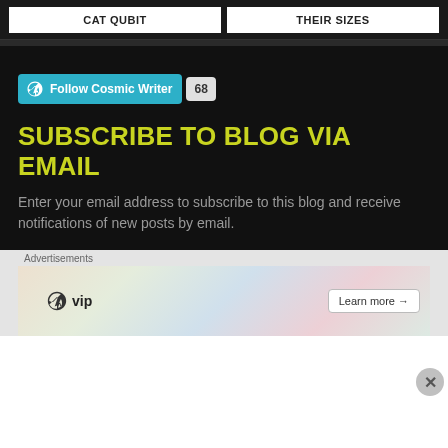CAT QUBIT
THEIR SIZES
[Figure (screenshot): WordPress Follow Cosmic Writer button with follower count of 68]
SUBSCRIBE TO BLOG VIA EMAIL
Enter your email address to subscribe to this blog and receive notifications of new posts by email.
[Figure (screenshot): Advertisements banner with WordPress VIP logo and Learn more button]